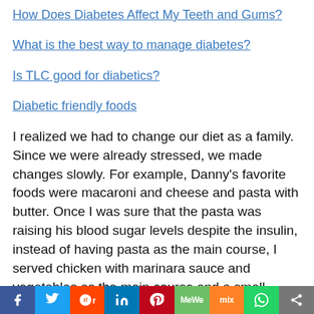How Does Diabetes Affect My Teeth and Gums?
What is the best way to manage diabetes?
Is TLC good for diabetics?
Diabetic friendly foods
I realized we had to change our diet as a family. Since we were already stressed, we made changes slowly. For example, Danny's favorite foods were macaroni and cheese and pasta with butter. Once I was sure that the pasta was raising his blood sugar levels despite the insulin, instead of having pasta as the main course, I served chicken with marinara sauce and vegetables as the main course and a small helping of pasta as a side dish. Even that did not solve the problem completely, so later we adjusted to whole-wheat pasta or no pasta
[Figure (infographic): Social sharing bar with icons for Facebook, Twitter, Reddit, LinkedIn, Pinterest, MeWe, Mix, WhatsApp, and Share]